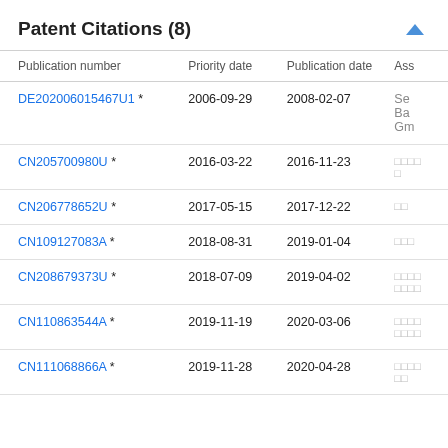Patent Citations (8)
| Publication number | Priority date | Publication date | Ass |
| --- | --- | --- | --- |
| DE202006015467U1 * | 2006-09-29 | 2008-02-07 | Seg Ba Gm |
| CN205700980U * | 2016-03-22 | 2016-11-23 | □□□□□ |
| CN206778652U * | 2017-05-15 | 2017-12-22 | □□ |
| CN109127083A * | 2018-08-31 | 2019-01-04 | □□□ |
| CN208679373U * | 2018-07-09 | 2019-04-02 | □□□□□□□□ |
| CN110863544A * | 2019-11-19 | 2020-03-06 | □□□□□□□□ |
| CN111068866A * | 2019-11-28 | 2020-04-28 | □□□□□□ |